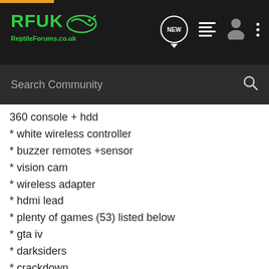RFUK ReptileForums.co.uk — Search Community
360 console + hdd
* white wireless controller
* buzzer remotes +sensor
* vision cam
* wireless adapter
* hdmi lead
* plenty of games (53) listed below
* gta iv
* darksiders
* crackdown
* prototype
* fable 3 &2
* sbk 08 superbike world championship
* sega mega drive ultimate collection
* xmen origins wolverine - uncaged edition